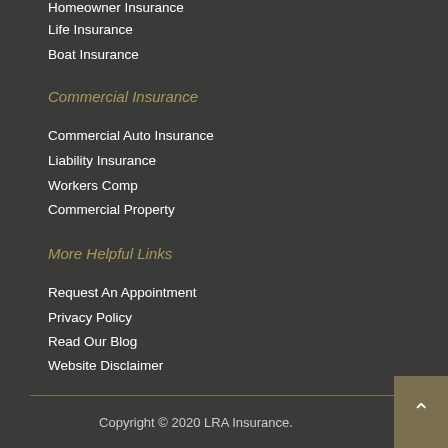Homeowner Insurance
Life Insurance
Boat Insurance
Commercial Insurance
Commercial Auto Insurance
Liability Insurance
Workers Comp
Commercial Property
More Helpful Links
Request An Appointment
Privacy Policy
Read Our Blog
Website Disclaimer
Copyright © 2020 LRA Insurance.